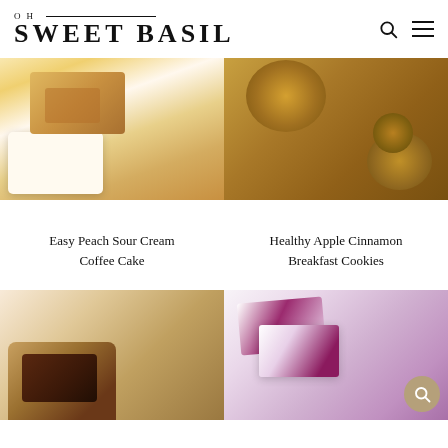OH SWEET BASIL
[Figure (photo): Close-up of peach sour cream coffee cake slices on a white plate]
[Figure (photo): Stacked healthy apple cinnamon breakfast cookies with oats and dried fruit]
Easy Peach Sour Cream Coffee Cake
Healthy Apple Cinnamon Breakfast Cookies
[Figure (photo): Chocolate chip cookies stacked]
[Figure (photo): Blueberry cheesecake bars with purple swirl pattern]